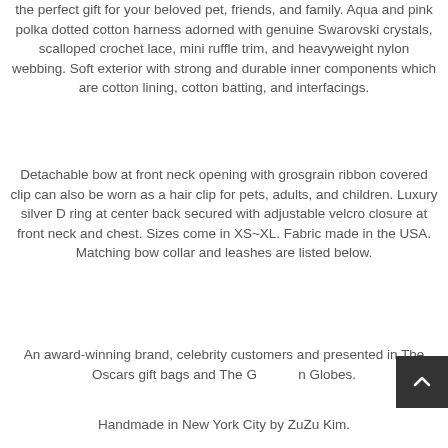the perfect gift for your beloved pet, friends, and family. Aqua and pink polka dotted cotton harness adorned with genuine Swarovski crystals, scalloped crochet lace, mini ruffle trim, and heavyweight nylon webbing. Soft exterior with strong and durable inner components which are cotton lining, cotton batting, and interfacings.
Detachable bow at front neck opening with grosgrain ribbon covered clip can also be worn as a hair clip for pets, adults, and children. Luxury silver D ring at center back secured with adjustable velcro closure at front neck and chest. Sizes come in XS~XL. Fabric made in the USA. Matching bow collar and leashes are listed below.
An award-winning brand, celebrity customers and presented in The Oscars gift bags and The Golden Globes.
Handmade in New York City by ZuZu Kim.